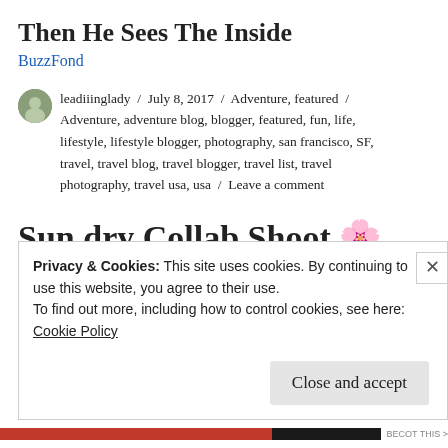Then He Sees The Inside
BuzzFond
leadiiinglady / July 8, 2017 / Adventure, featured / Adventure, adventure blog, blogger, featured, fun, life, lifestyle, lifestyle blogger, photography, san francisco, SF, travel, travel blog, travel blogger, travel list, travel photography, travel usa, usa / Leave a comment
Sun.dry Collab Shoot 🌸
Privacy & Cookies: This site uses cookies. By continuing to use this website, you agree to their use.
To find out more, including how to control cookies, see here: Cookie Policy
Close and accept